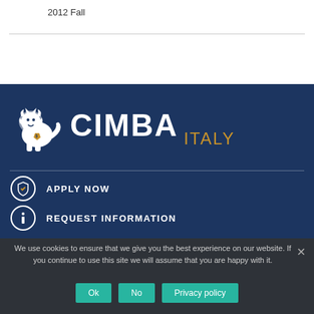2012 Fall
[Figure (logo): CIMBA Italy logo with white lion mascot, white bold CIMBA text, and gold ITALY text on dark blue background]
APPLY NOW
REQUEST INFORMATION
We use cookies to ensure that we give you the best experience on our website. If you continue to use this site we will assume that you are happy with it.
Ok  No  Privacy policy